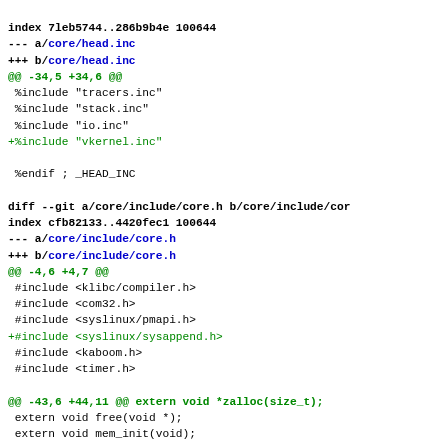index 7leb5744..286b9b4e 100644
--- a/core/head.inc
+++ b/core/head.inc
@@ -34,5 +34,6 @@
 %include "tracers.inc"
 %include "stack.inc"
 %include "io.inc"
+%include "vkernel.inc"

 %endif ; _HEAD_INC

diff --git a/core/include/core.h b/core/include/cor
index cfb82133..4420fec1 100644
--- a/core/include/core.h
+++ b/core/include/core.h
@@ -4,6 +4,7 @@
 #include <klibc/compiler.h>
 #include <com32.h>
 #include <syslinux/pmapi.h>
+#include <syslinux/sysappend.h>
 #include <kaboom.h>
 #include <timer.h>

@@ -43,6 +44,11 @@ extern void *zalloc(size_t);
 extern void free(void *);
 extern void mem_init(void);

+/* sysappend.c */
+extern void print_sysappend(void);
+extern const char *sysappend_strings[SYSAPPEND_MAX